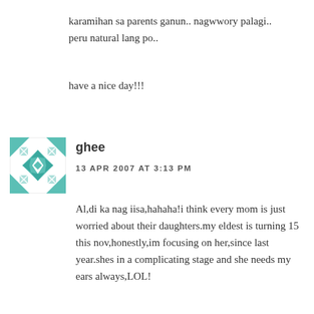karamihan sa parents ganun.. nagwwory palagi.. peru natural lang po..
have a nice day!!!
[Figure (illustration): Avatar icon with teal/green geometric quilt pattern on white background]
ghee
13 APR 2007 AT 3:13 PM
Al,di ka nag iisa,hahaha!i think every mom is just worried about their daughters.my eldest is turning 15 this nov,honestly,im focusing on her,since last year.shes in a complicating stage and she needs my ears always,LOL!
great renovation!10 walls,Al?wow!thats a hardwork.i love the color,of course i do love